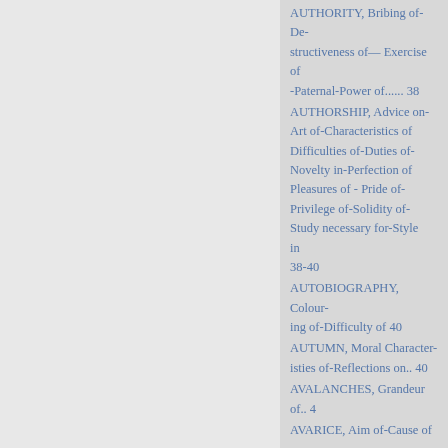AUTHORITY, Bribing of-Destructiveness of— Exercise of -Paternal-Power of...... 38
AUTHORSHIP, Advice on-Art of-Characteristics of Difficulties of-Duties of-Novelty in-Perfection of Pleasures of - Pride of-Privilege of-Solidity of-Study necessary for-Style in 38-40
AUTOBIOGRAPHY, Colouring of-Difficulty of 40
AUTUMN, Moral Characteristics of-Reflections on.. 40
AVALANCHES, Grandeur of.. 4
AVARICE, Aim of-Cause of